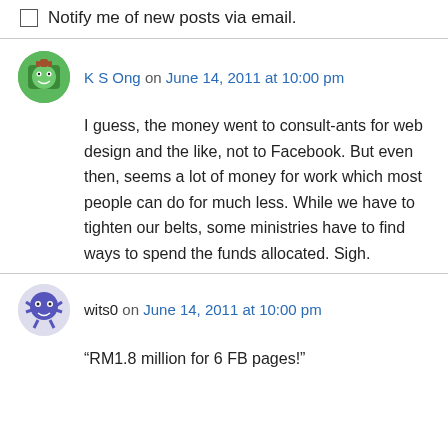Notify me of new posts via email.
K S Ong on June 14, 2011 at 10:00 pm
I guess, the money went to consult-ants for web design and the like, not to Facebook. But even then, seems a lot of money for work which most people can do for much less. While we have to tighten our belts, some ministries have to find ways to spend the funds allocated. Sigh.
wits0 on June 14, 2011 at 10:00 pm
“RM1.8 million for 6 FB pages!”